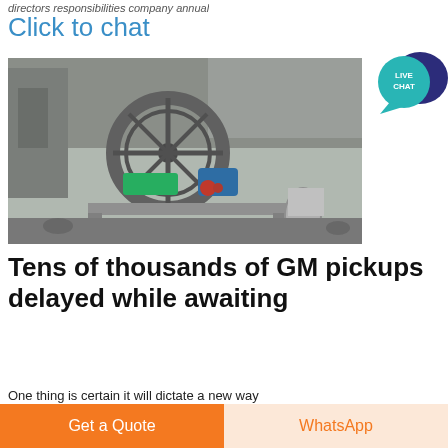directors responsibilities company annual
Click to chat
[Figure (photo): Industrial machinery — large wheel/drum mechanism with motor, set amid rubble and industrial debris outdoors]
[Figure (infographic): Live Chat bubble icon — teal speech bubble with 'LIVE CHAT' text and dark purple larger bubble behind]
Tens of thousands of GM pickups delayed while awaiting
One thing is certain it will dictate a new way
Get a Quote
WhatsApp